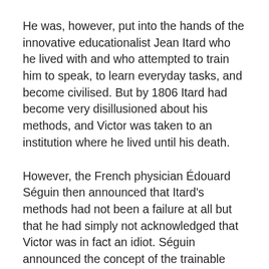He was, however, put into the hands of the innovative educationalist Jean Itard who he lived with and who attempted to train him to speak, to learn everyday tasks, and become civilised. But by 1806 Itard had become very disillusioned about his methods, and Victor was taken to an institution where he lived until his death.
However, the French physician Édouard Séguin then announced that Itard's methods had not been a failure at all but that he had simply not acknowledged that Victor was in fact an idiot. Séguin announced the concept of the trainable idiot. Based on Itard's methods there was no reason why the idiot population, housed in calm, orderly, isolated institutions, could not be trained to carry out the everyday tasks of ordinary life and